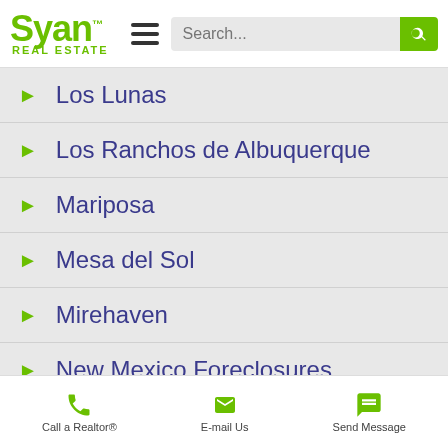Syan Real Estate — hamburger menu, search bar
Los Lunas
Los Ranchos de Albuquerque
Mariposa
Mesa del Sol
Mirehaven
New Mexico Foreclosures
Nob Hill Homes
Placitas Homes
Placitas
Call a Realtor® | E-mail Us | Send Message